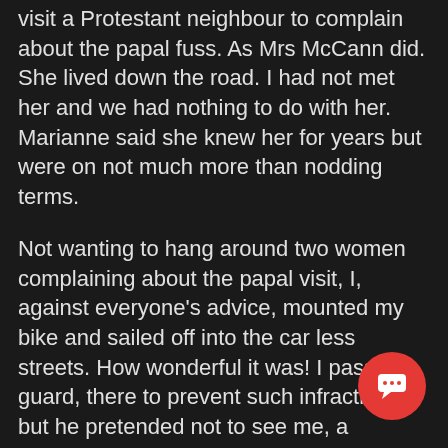visit a Protestant neighbour to complain about the papal fuss. As Mrs McCann did. She lived down the road. I had not met her and we had nothing to do with her. Marianne said she knew her for years but were on not much more than nodding terms.
Not wanting to hang around two women complaining about the papal visit, I, against everyone's advice, mounted my bike and sailed off into the car less streets. How wonderful it was! I passed a guard, there to prevent such infractions, but he pretended not to see me, a surprisingly common constabulary practice I have come to see in trade over the years. How wonderful was it to race through empty streets to the Phoenix Park, threading my way through the mass of banana buses. And then go to edges of the massive crowd, a quarter mile deep and half as wide - all looking to that tiny clad figure in the distance. The speaker system was good and I did not know what he was saying, though I